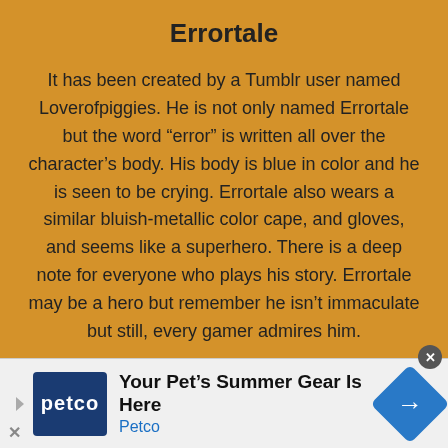Errortale
It has been created by a Tumblr user named Loverofpiggies. He is not only named Errortale but the word “error” is written all over the character’s body. His body is blue in color and he is seen to be crying. Errortale also wears a similar bluish-metallic color cape, and gloves, and seems like a superhero. There is a deep note for everyone who plays his story. Errortale may be a hero but remember he isn’t immaculate but still, every gamer admires him.
[Figure (other): Petco advertisement banner at the bottom: shows Petco logo, text 'Your Pet's Summer Gear Is Here' and 'Petco', with a blue navigation arrow icon on the right.]